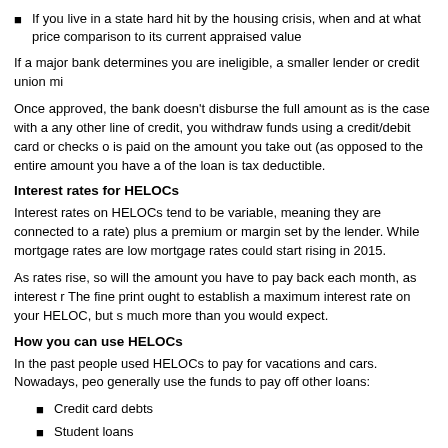If you live in a state hard hit by the housing crisis, when and at what price comparison to its current appraised value
If a major bank determines you are ineligible, a smaller lender or credit union mi
Once approved, the bank doesn't disburse the full amount as is the case with a any other line of credit, you withdraw funds using a credit/debit card or checks o is paid on the amount you take out (as opposed to the entire amount you have a of the loan is tax deductible.
Interest rates for HELOCs
Interest rates on HELOCs tend to be variable, meaning they are connected to a rate) plus a premium or margin set by the lender. While mortgage rates are low mortgage rates could start rising in 2015.
As rates rise, so will the amount you have to pay back each month, as interest r The fine print ought to establish a maximum interest rate on your HELOC, but s much more than you would expect.
How you can use HELOCs
In the past people used HELOCs to pay for vacations and cars. Nowadays, peo generally use the funds to pay off other loans:
Credit card debts
Student loans
Auto loans